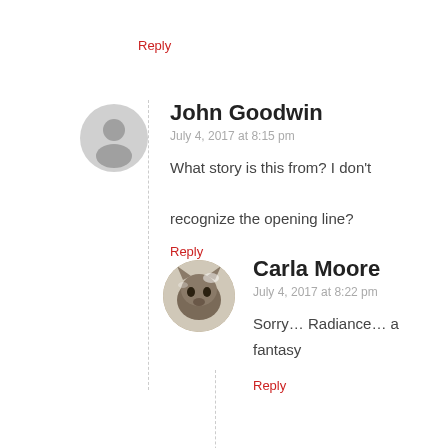Reply
John Goodwin
July 4, 2017 at 8:15 pm
What story is this from? I don’t recognize the opening line?
Reply
Carla Moore
July 4, 2017 at 8:22 pm
Sorry… Radiance… a fantasy
Reply